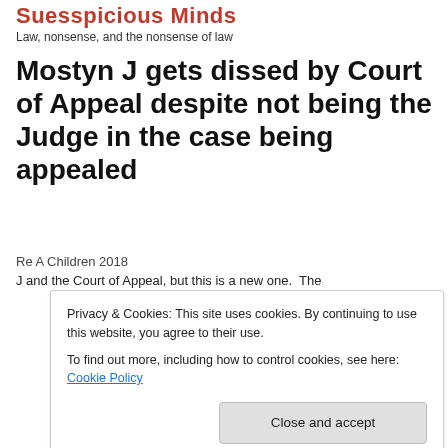Suesspicious Minds
Law, nonsense, and the nonsense of law
Mostyn J gets dissed by Court of Appeal despite not being the Judge in the case being appealed
Re A Children 2018
Privacy & Cookies: This site uses cookies. By continuing to use this website, you agree to their use.
To find out more, including how to control cookies, see here: Cookie Policy
J and the Court of Appeal, but this is a new one.  The